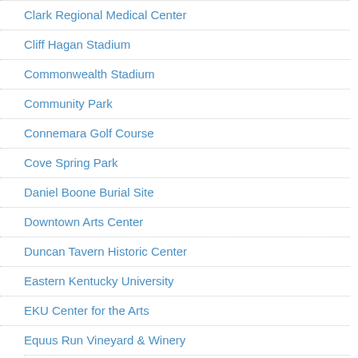Clark Regional Medical Center
Cliff Hagan Stadium
Commonwealth Stadium
Community Park
Connemara Golf Course
Cove Spring Park
Daniel Boone Burial Site
Downtown Arts Center
Duncan Tavern Historic Center
Eastern Kentucky University
EKU Center for the Arts
Equus Run Vineyard & Winery